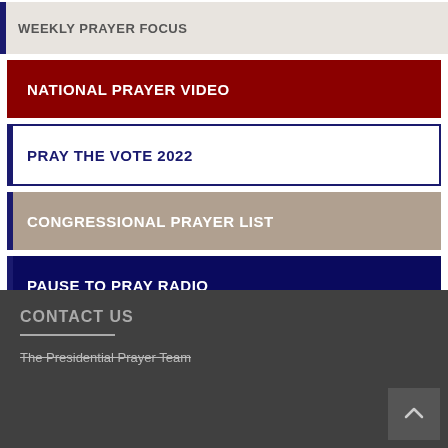WEEKLY PRAYER FOCUS
NATIONAL PRAYER VIDEO
PRAY THE VOTE 2022
CONGRESSIONAL PRAYER LIST
PAUSE TO PRAY RADIO
CONTACT US
The Presidential Prayer Team